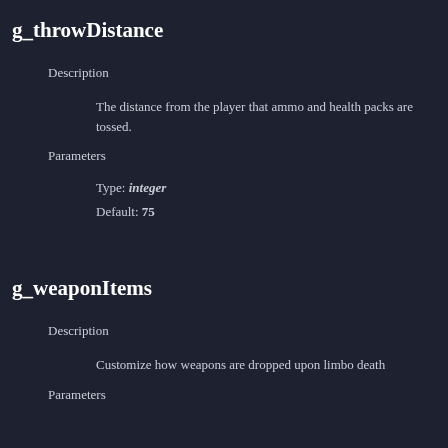g_throwDistance
Description
The distance from the player that ammo and health packs are tossed.
Parameters
Type: integer
Default: 75
g_weaponItems
Description
Customize how weapons are dropped upon limbo death
Parameters